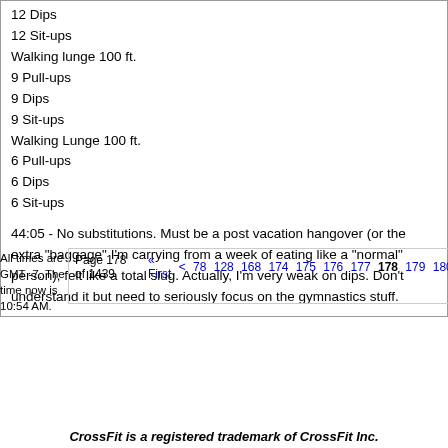12 Dips
12 Sit-ups
Walking lunge 100 ft.
9 Pull-ups
9 Dips
9 Sit-ups
Walking Lunge 100 ft.
6 Pull-ups
6 Dips
6 Sit-ups
44:05 - No substitutions. Must be a post vacation hangover (or the extra "baggage" I'm carrying from a week of eating like a "normal" person), felt like a total slug. Actually, I'm very weak on dips. Don't understand it but need to seriously focus on the gymnastics stuff.
All times are GMT -7. The time now is 10:54 AM.
Page 178 of 1439  « First  <  78  128  168  174  175  176  177  178  179  180  181  182  188
Show 40 po
CrossFit is a registered trademark of CrossFit Inc.